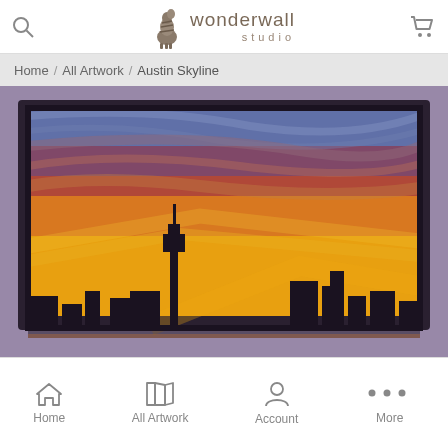wonderwall studio
Home / All Artwork / Austin Skyline
[Figure (photo): Framed artwork showing Austin city skyline silhouette against a dramatic sunset sky with yellow, orange, red and purple colors]
ADD TO CART
Home  All Artwork  Account  More